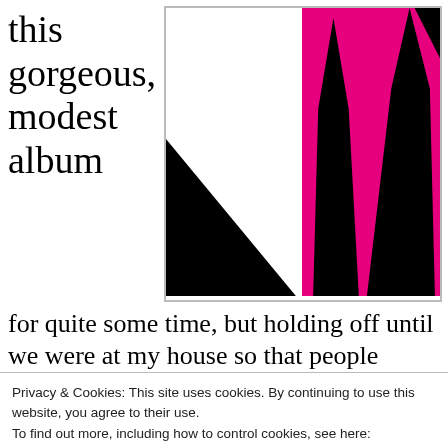this gorgeous, modest album
[Figure (illustration): Two-panel image: left panel shows a white rectangle with a large black right-triangle in the lower-left; right panel shows a magenta/pink background with two black triangular shapes (like mountain peaks), with a partial black triangle visible at top-right corner.]
for quite some time, but holding off until we were at my house so that people could feel its beautifully-rendered synthesisers emanating from my speakers. Not that there’s anything wrong with anyone else’s speakers: just that I
Privacy & Cookies: This site uses cookies. By continuing to use this website, you agree to their use.
To find out more, including how to control cookies, see here:
Cookie Policy
Close and accept
Except that 2012’s Clean Cuts, despite being